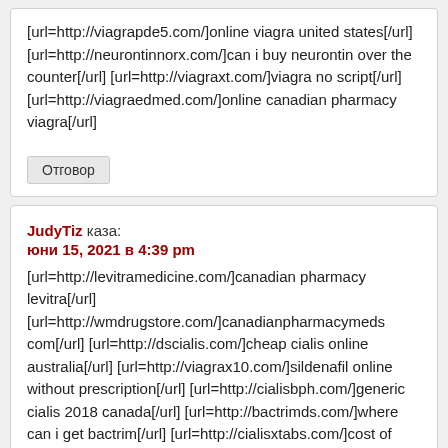[url=http://viagrapde5.com/]online viagra united states[/url] [url=http://neurontinnorx.com/]can i buy neurontin over the counter[/url] [url=http://viagraxt.com/]viagra no script[/url] [url=http://viagraedmed.com/]online canadian pharmacy viagra[/url]
Отговор
JudyTiz каза:
юни 15, 2021 в 4:39 pm
[url=http://levitramedicine.com/]canadian pharmacy levitra[/url] [url=http://wmdrugstore.com/]canadianpharmacymeds com[/url] [url=http://dscialis.com/]cheap cialis online australia[/url] [url=http://viagrax10.com/]sildenafil online without prescription[/url] [url=http://cialisbph.com/]generic cialis 2018 canada[/url] [url=http://bactrimds.com/]where can i get bactrim[/url] [url=http://cialisxtabs.com/]cost of cialis 20mg tablets[/url] [url=http://viagraxt.com/]how to get viagra